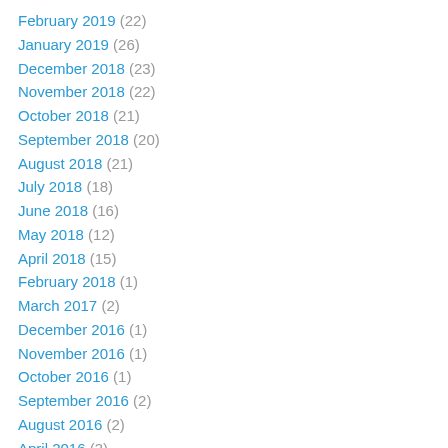February 2019 (22)
January 2019 (26)
December 2018 (23)
November 2018 (22)
October 2018 (21)
September 2018 (20)
August 2018 (21)
July 2018 (18)
June 2018 (16)
May 2018 (12)
April 2018 (15)
February 2018 (1)
March 2017 (2)
December 2016 (1)
November 2016 (1)
October 2016 (1)
September 2016 (2)
August 2016 (2)
April 2016 (3)
February 2016 (1)